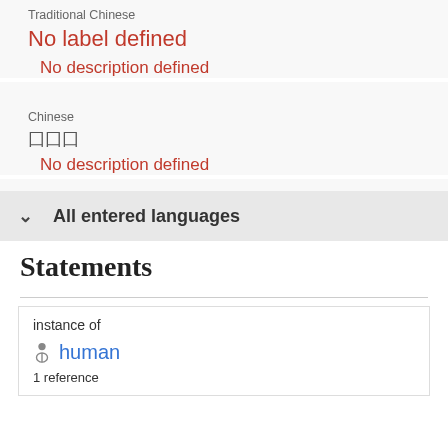Traditional Chinese
No label defined
No description defined
Chinese
囗囗囗
No description defined
All entered languages
Statements
instance of
human
1 reference